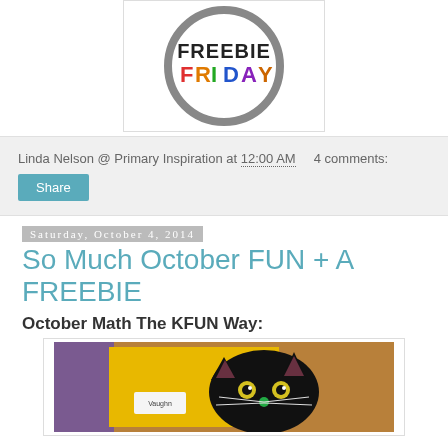[Figure (logo): Freebie Friday logo — circular gray border with 'FREEBIE' in black letters and 'FRIDAY' in multicolor letters (red, green, blue, purple, orange)]
Linda Nelson @ Primary Inspiration at 12:00 AM    4 comments:
Share
Saturday, October 4, 2014
So Much October FUN + A FREEBIE
October Math The KFUN Way:
[Figure (photo): Photo of a black cat craft on yellow felt fabric, with a small mouse figure labeled 'Vaughn', on a wooden table background. Purple fabric visible on left.]